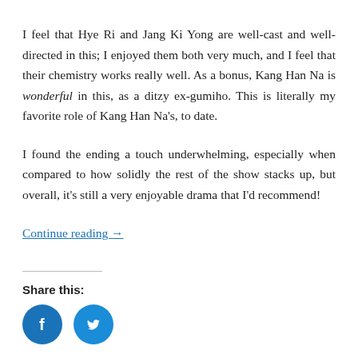I feel that Hye Ri and Jang Ki Yong are well-cast and well-directed in this; I enjoyed them both very much, and I feel that their chemistry works really well. As a bonus, Kang Han Na is wonderful in this, as a ditzy ex-gumiho. This is literally my favorite role of Kang Han Na's, to date.
I found the ending a touch underwhelming, especially when compared to how solidly the rest of the show stacks up, but overall, it's still a very enjoyable drama that I'd recommend!
Continue reading →
Share this:
[Figure (other): Facebook and Twitter share icon buttons (blue circles with white icons)]
This entry was posted in Review and tagged 2021, At A Distance, At